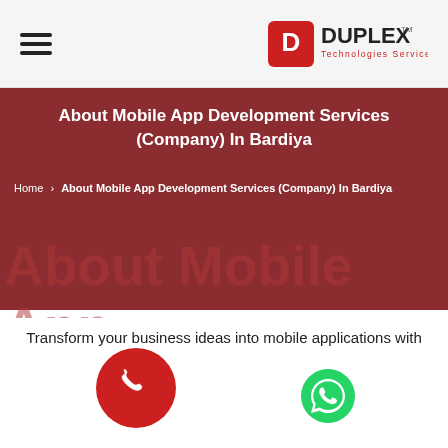[Figure (logo): Duplex Technologies Services logo with red icon and text]
About Mobile App Development Services (Company) In Bardiya
Home > About Mobile App Development Services (Company) In Bardiya
About Mobile App Development Services (Company) In Bardiya
Transform your business ideas into mobile applications with